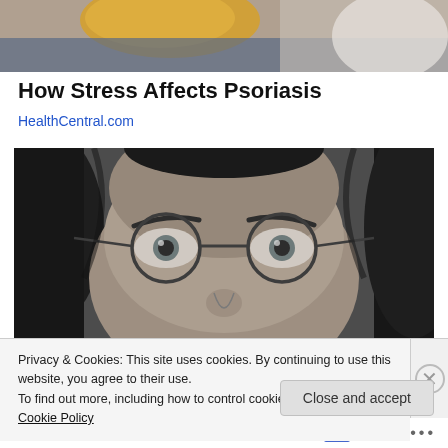[Figure (photo): Partial photo of yellow cushion/pillow on blue/grey background, cropped at top of page]
How Stress Affects Psoriasis
HealthCentral.com
[Figure (photo): Black and white close-up photo of a person with long hair wearing round glasses, showing eyes and nose bridge]
Privacy & Cookies: This site uses cookies. By continuing to use this website, you agree to their use.
To find out more, including how to control cookies, see here: Cookie Policy
Close and accept
Follow